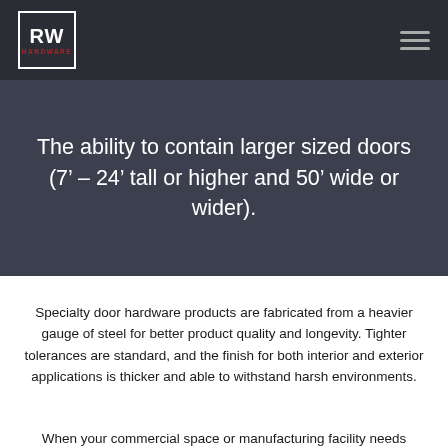RW HARDWARE
The ability to contain larger sized doors (7’ – 24’ tall or higher and 50’ wide or wider).
Specialty door hardware products are fabricated from a heavier gauge of steel for better product quality and longevity. Tighter tolerances are standard, and the finish for both interior and exterior applications is thicker and able to withstand harsh environments.
When your commercial space or manufacturing facility needs